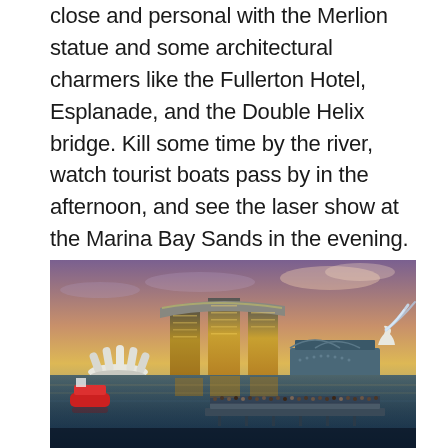close and personal with the Merlion statue and some architectural charmers like the Fullerton Hotel, Esplanade, and the Double Helix bridge. Kill some time by the river, watch tourist boats pass by in the afternoon, and see the laser show at the Marina Bay Sands in the evening. And if you hear your tummy grumble, dig into cheap foodie favorites at Makansutra Bay or take a bite of an ice cream sandwich sold under Esplanade Bridge.
[Figure (photo): Panoramic dusk/twilight photo of Marina Bay Sands Singapore with three towers and rooftop infinity pool structure lit in golden light, the ArtScience Museum lotus-shaped building on the left, Merlion statue on the right spraying water, a red tourist boat on the water, a crowded viewing platform in the foreground, and a purple-orange sunset sky.]